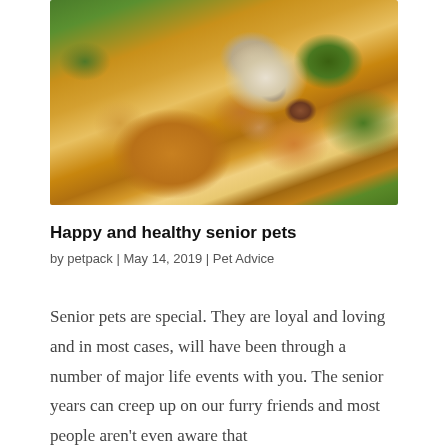[Figure (photo): A senior yellow Labrador retriever dog looking up at the camera with mouth open and tongue out, standing on green grass, photographed from above. The dog has a graying muzzle indicating old age.]
Happy and healthy senior pets
by petpack | May 14, 2019 | Pet Advice
Senior pets are special. They are loyal and loving and in most cases, will have been through a number of major life events with you. The senior years can creep up on our furry friends and most people aren't even aware that